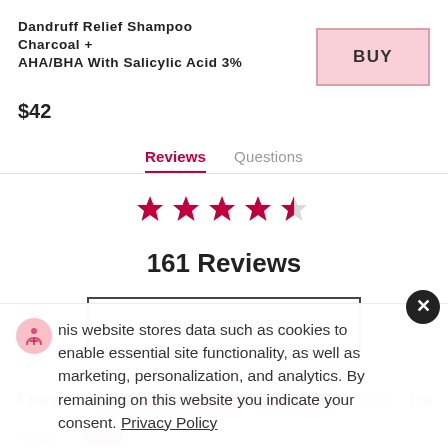Dandruff Relief Shampoo Charcoal + AHA/BHA With Salicylic Acid 3%
BUY
$42
Reviews  Questions
[Figure (other): Five star rating icons (4.5 stars filled in crimson/magenta)]
161 Reviews
WRITE A REVIEW
5 Stars  139
nis website stores data such as cookies to enable essential site functionality, as well as marketing, personalization, and analytics. By remaining on this website you indicate your consent. Privacy Policy